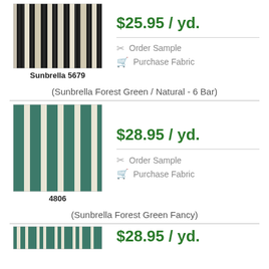[Figure (illustration): Striped fabric swatch with vertical black, grey, cream stripes - Sunbrella 5679]
Sunbrella 5679
$25.95 / yd.
Order Sample
Purchase Fabric
(Sunbrella Forest Green / Natural - 6 Bar)
[Figure (illustration): Striped fabric swatch with vertical green and cream stripes - 4806]
4806
$28.95 / yd.
Order Sample
Purchase Fabric
(Sunbrella Forest Green Fancy)
$28.95 / yd.